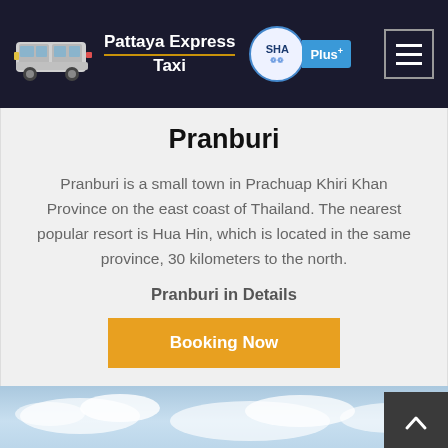Pattaya Express Taxi
Pranburi
Pranburi is a small town in Prachuap Khiri Khan Province on the east coast of Thailand. The nearest popular resort is Hua Hin, which is located in the same province, 30 kilometers to the north.
Pranburi in Details
Booking Now
[Figure (photo): Sky and clouds landscape photo at the bottom of the page]